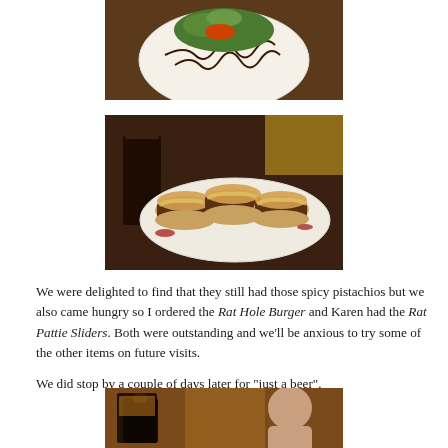[Figure (photo): Partial view of a plate with food (burger/salad), top portion visible]
[Figure (photo): Plate of Rat Pattie Sliders — three small burgers with melted cheese on buns, served on a white plate with a glass of dark beer in the background]
We were delighted to find that they still had those spicy pistachios but we also came hungry so I ordered the Rat Hole Burger and Karen had the Rat Pattie Sliders. Both were outstanding and we'll be anxious to try some of the other items on future visits.
We did stop by a couple of days later for "just a beer".
[Figure (photo): Partial bottom photo showing people at what appears to be a bar or restaurant setting]